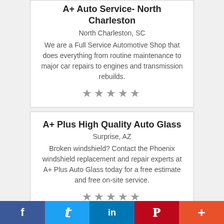A+ Auto Service- North Charleston
North Charleston, SC
We are a Full Service Automotive Shop that does everything from routine maintenance to major car repairs to engines and transmission rebuilds.
[Figure (other): 5 star rating icons (empty/outline stars)]
A+ Plus High Quality Auto Glass
Surprise, AZ
Broken windshield? Contact the Phoenix windshield replacement and repair experts at A+ Plus Auto Glass today for a free estimate and free on-site service.
[Figure (other): 5 star rating icons (empty/outline stars)]
A+ Plus Local Windshield Company in Mesa